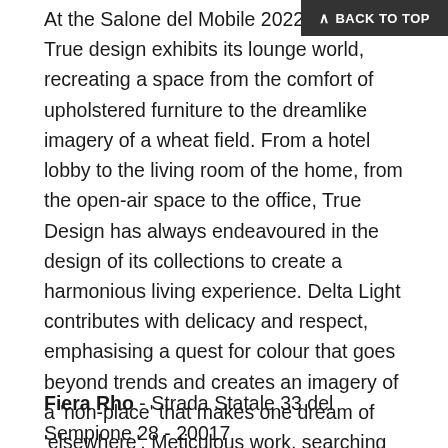At the Salone del Mobile 2022 in Milan, True design exhibits its lounge world, recreating a space from the comfort of upholstered furniture to the dreamlike imagery of a wheat field. From a hotel lobby to the living room of the home, from the open-air space to the office, True Design has always endeavoured in the design of its collections to create a harmonious living experience. Delta Light contributes with delicacy and respect, emphasising a quest for colour that goes beyond trends and creates an imagery of a 'non-place' that makes one dream of 'elsewhere'. Meticulous work, searching for the ideal lighting, which accompanies the space and the objects within it without ever being intrusive. Delta Light together with the creative team of True Design embroidered the splendour of the furnishings into light, as in a dream.
Fiera Rho - Strada Statale 33 del Sempione 28 - 20017